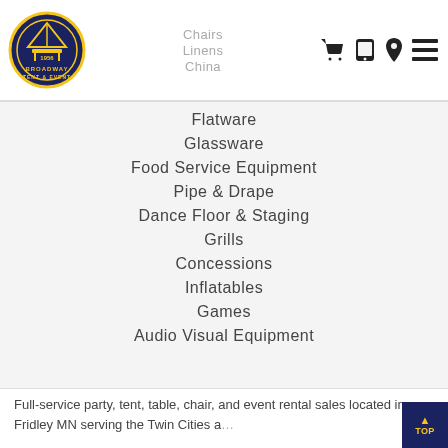[Figure (logo): Broadway Tent & Event circular logo with 1956 text]
Chairs
Linens
China
Flatware
Glassware
Food Service Equipment
Pipe & Drape
Dance Floor & Staging
Grills
Concessions
Inflatables
Games
Audio Visual Equipment
Full-service party, tent, table, chair, and event rental sales located in Fridley MN serving the Twin Cities and...